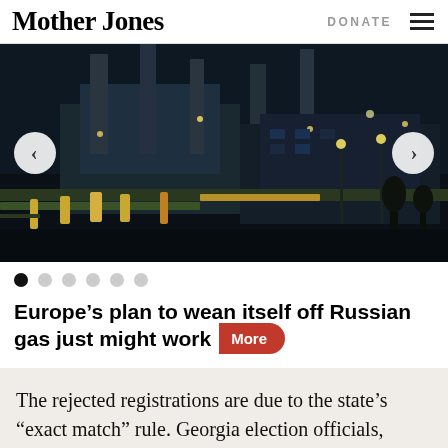Mother Jones | DONATE
[Figure (photo): Night photo of an industrial gas facility/plant with large pipes, chimneys, and bright lights against a dark sky. Left and right carousel navigation arrows are visible.]
Europe’s plan to wean itself off Russian gas just might work
The rejected registrations are due to the state’s “exact match” rule. Georgia election officials, under a process Kemp has vigorously advocated, run every